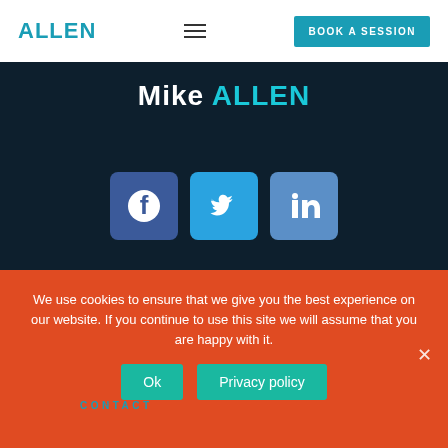ALLEN  BOOK A SESSION
Mike ALLEN
[Figure (illustration): Three social media icon buttons: Facebook (dark blue rounded square with 'f' circle icon), Twitter (sky blue rounded square with bird icon), LinkedIn (medium blue rounded square with 'in' text)]
CONTACT
We use cookies to ensure that we give you the best experience on our website. If you continue to use this site we will assume that you are happy with it.
Ok  Privacy policy